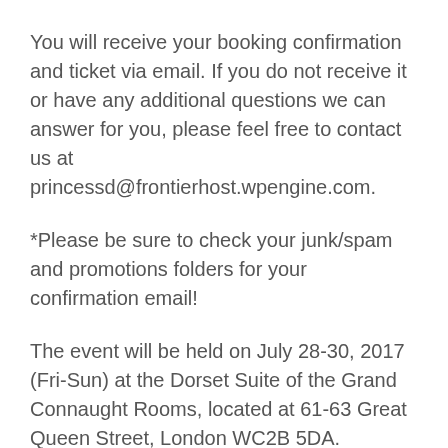You will receive your booking confirmation and ticket via email. If you do not receive it or have any additional questions we can answer for you, please feel free to contact us at princessd@frontierhost.wpengine.com.
*Please be sure to check your junk/spam and promotions folders for your confirmation email!
The event will be held on July 28-30, 2017 (Fri-Sun) at the Dorset Suite of the Grand Connaught Rooms, located at 61-63 Great Queen Street, London WC2B 5DA.